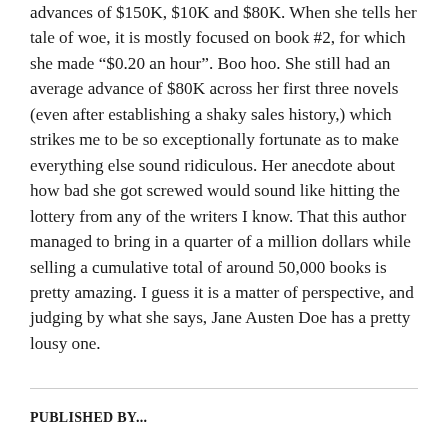advances of $150K, $10K and $80K. When she tells her tale of woe, it is mostly focused on book #2, for which she made “$0.20 an hour”. Boo hoo. She still had an average advance of $80K across her first three novels (even after establishing a shaky sales history,) which strikes me to be so exceptionally fortunate as to make everything else sound ridiculous. Her anecdote about how bad she got screwed would sound like hitting the lottery from any of the writers I know. That this author managed to bring in a quarter of a million dollars while selling a cumulative total of around 50,000 books is pretty amazing. I guess it is a matter of perspective, and judging by what she says, Jane Austen Doe has a pretty lousy one.
PUBLISHED BY...